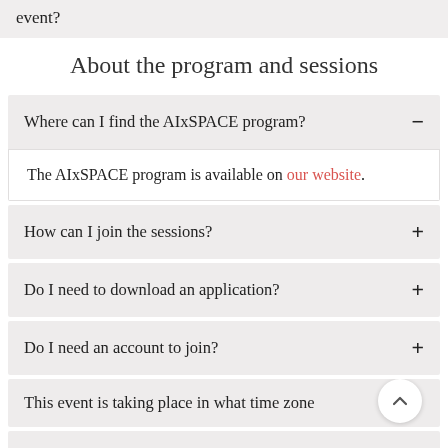event?
About the program and sessions
Where can I find the AIxSPACE program?
The AIxSPACE program is available on our website.
How can I join the sessions?
Do I need to download an application?
Do I need an account to join?
This event is taking place in what time zone
What is a live session and a on demand session?